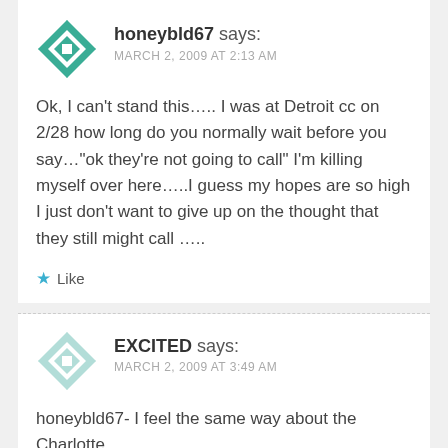[Figure (illustration): Teal geometric avatar icon with diamond and cross pattern for user honeybld67]
honeybld67 says:
MARCH 2, 2009 AT 2:13 AM
Ok, I can't stand this….. I was at Detroit cc on 2/28 how long do you normally wait before you say…"ok they're not going to call" I'm killing myself over here…..I guess my hopes are so high I just don't want to give up on the thought that they still might call …..
Like
[Figure (illustration): Light teal geometric avatar icon with diamond and cross pattern for user EXCITED]
EXCITED says:
MARCH 2, 2009 AT 3:49 AM
honeybld67- I feel the same way about the Charlotte